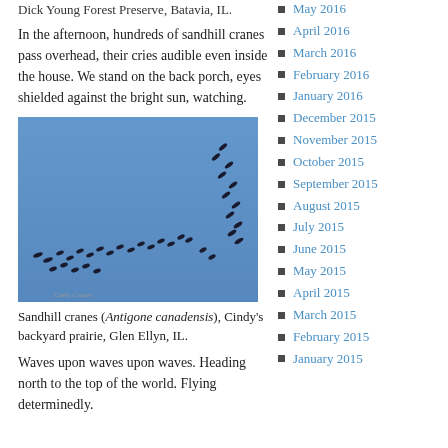Dick Young Forest Preserve, Batavia, IL.
In the afternoon, hundreds of sandhill cranes pass overhead, their cries audible even inside the house. We stand on the back porch, eyes shielded against the bright sun, watching.
[Figure (photo): Photograph of sandhill cranes flying against a blue sky, arranged in a V-formation line, dark silhouettes on a bright blue background.]
Sandhill cranes (Antigone canadensis), Cindy's backyard prairie, Glen Ellyn, IL.
Waves upon waves upon waves. Heading north to the top of the world. Flying determinedly.
May 2016
April 2016
March 2016
February 2016
January 2016
December 2015
November 2015
October 2015
September 2015
August 2015
July 2015
June 2015
May 2015
April 2015
March 2015
February 2015
January 2015